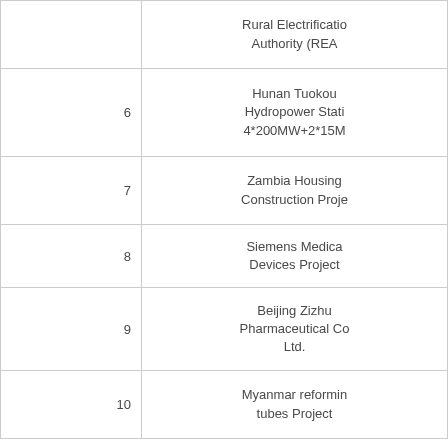| No. | Project Name |
| --- | --- |
|  | Rural Electrification Authority (REA) |
| 6 | Hunan Tuokou Hydropower Station 4*200MW+2*15M |
| 7 | Zambia Housing Construction Project |
| 8 | Siemens Medical Devices Project |
| 9 | Beijing Zizhu Pharmaceutical Co. Ltd. |
| 10 | Myanmar reforming tubes Project |
Page up  1  2  3  4